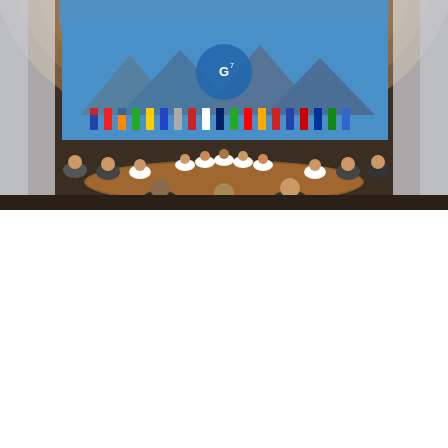Category tagged COVID-19 Response, Funding, Pandemic Fund, Pandemic Preparedness, Pandemic Prevention, World Bank Leave a Comment
Falling Short: Pandemic Action Network Statement on the 2022 G7 Leaders' Summit
Posted on June 28, 2022 by Hanna Hwang
[Figure (photo): Photo of the 2022 G7 Leaders' Summit meeting room. World leaders and delegates seated around a large oval table in an ornate wooden arched hall. International flags displayed in the background along with a large scenic alpine mural featuring the G7 logo. The setting is the Schloss Elmau summit venue.]